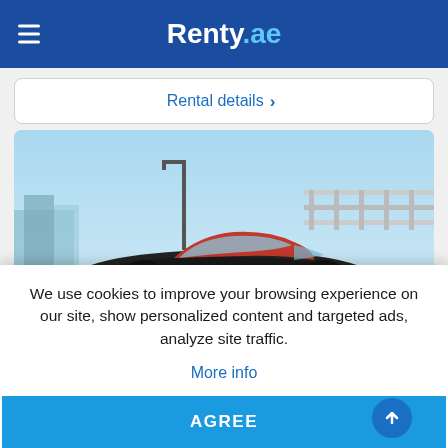Renty.ae
Rental details >
[Figure (photo): A black Porsche sports car with red roof driving on a road in Dubai, with a clear blue sky and modern architecture and a bridge in the background.]
We use cookies to improve your browsing experience on our site, show personalized content and targeted ads, analyze site traffic.
More info
AGREE